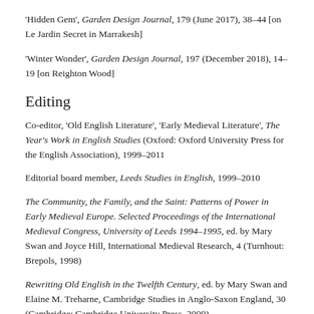'Hidden Gem', Garden Design Journal, 179 (June 2017), 38–44 [on Le Jardin Secret in Marrakesh]
'Winter Wonder', Garden Design Journal, 197 (December 2018), 14–19 [on Reighton Wood]
Editing
Co-editor, 'Old English Literature', 'Early Medieval Literature', The Year's Work in English Studies (Oxford: Oxford University Press for the English Association), 1999–2011
Editorial board member, Leeds Studies in English, 1999–2010
The Community, the Family, and the Saint: Patterns of Power in Early Medieval Europe. Selected Proceedings of the International Medieval Congress, University of Leeds 1994–1995, ed. by Mary Swan and Joyce Hill, International Medieval Research, 4 (Turnhout: Brepols, 1998)
Rewriting Old English in the Twelfth Century, ed. by Mary Swan and Elaine M. Treharne, Cambridge Studies in Anglo-Saxon England, 30 (Cambridge: Cambridge University Press, 2000)